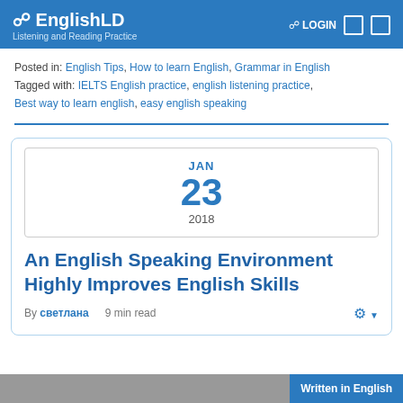EnglishLD — Listening and Reading Practice
Posted in: English Tips, How to learn English, Grammar in English
Tagged with: IELTS English practice, english listening practice, Best way to learn english, easy english speaking
[Figure (other): Date box showing JAN 23 2018]
An English Speaking Environment Highly Improves English Skills
By светлана   9 min read
Written in English